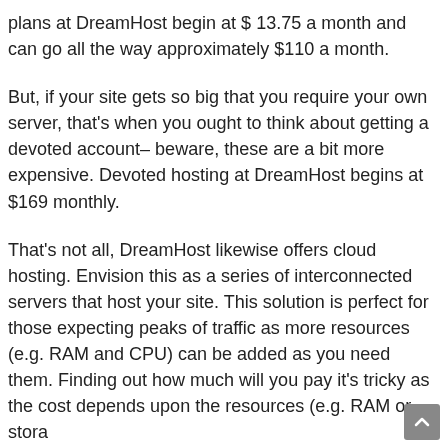plans at DreamHost begin at $ 13.75 a month and can go all the way approximately $110 a month.
But, if your site gets so big that you require your own server, that's when you ought to think about getting a devoted account– beware, these are a bit more expensive. Devoted hosting at DreamHost begins at $169 monthly.
That's not all, DreamHost likewise offers cloud hosting. Envision this as a series of interconnected servers that host your site. This solution is perfect for those expecting peaks of traffic as more resources (e.g. RAM and CPU) can be added as you need them. Finding out how much will you pay it's tricky as the cost depends upon the resources (e.g. RAM or storage) that you need.